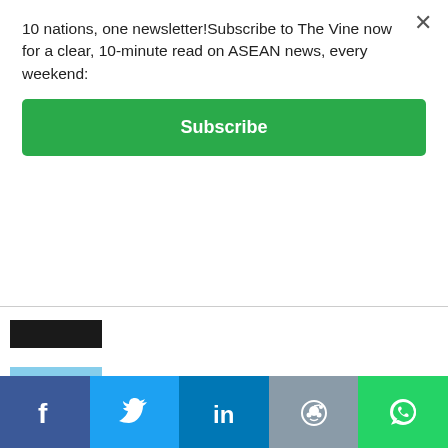10 nations, one newsletter!Subscribe to The Vine now for a clear, 10-minute read on ASEAN news, every weekend:
Subscribe
[Figure (photo): Partial/cropped dark image at top of news list]
[Figure (photo): Buford town sign with blue sky and road]
Vietnamese businessman buys smallest US town
[Figure (map): Map showing North Natuna Sea area with pink arrow]
Indonesia declares "North Natuna Sea" - China: "Totally meaningless"
[Figure (photo): Green mobile game screenshot from Vietnam]
Online game from Vietnam goes viral
Facebook | Twitter | LinkedIn | Reddit | WhatsApp